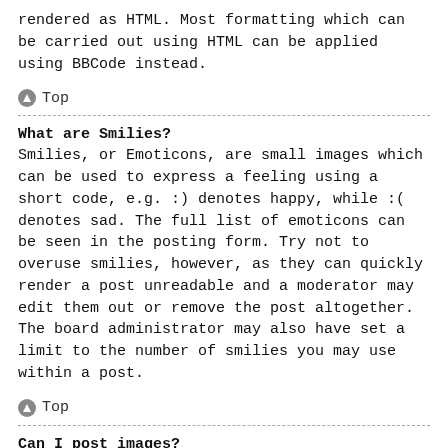rendered as HTML. Most formatting which can be carried out using HTML can be applied using BBCode instead.
⬆ Top
What are Smilies?
Smilies, or Emoticons, are small images which can be used to express a feeling using a short code, e.g. :) denotes happy, while :( denotes sad. The full list of emoticons can be seen in the posting form. Try not to overuse smilies, however, as they can quickly render a post unreadable and a moderator may edit them out or remove the post altogether. The board administrator may also have set a limit to the number of smilies you may use within a post.
⬆ Top
Can I post images?
Yes, images can be shown in your posts. If the administrator has allowed attachments, you may be able to upload the image to the board. Otherwise, you must link to an image stored on a publicly accessible web server, e.g.